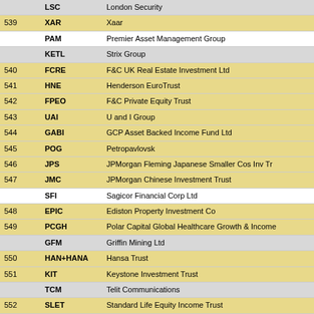|  | LSC/ticker | Company Name |
| --- | --- | --- |
|  | LSC | London Security |
| 539 | XAR | Xaar |
|  | PAM | Premier Asset Management Group |
|  | KETL | Strix Group |
| 540 | FCRE | F&C UK Real Estate Investment Ltd |
| 541 | HNE | Henderson EuroTrust |
| 542 | FPEO | F&C Private Equity Trust |
| 543 | UAI | U and I Group |
| 544 | GABI | GCP Asset Backed Income Fund Ltd |
| 545 | POG | Petropavlovsk |
| 546 | JPS | JPMorgan Fleming Japanese Smaller Cos Inv Tr |
| 547 | JMC | JPMorgan Chinese Investment Trust |
|  | SFI | Sagicor Financial Corp Ltd |
| 548 | EPIC | Ediston Property Investment Co |
| 549 | PCGH | Polar Capital Global Healthcare Growth & Income |
|  | GFM | Griffin Mining Ltd |
| 550 | HAN+HANA | Hansa Trust |
| 551 | KIT | Keystone Investment Trust |
|  | TCM | Telit Communications |
| 552 | SLET | Standard Life Equity Income Trust |
|  | ZEG | Zegona Communications |
| 553 | FOXT | Foxtons Group |
|  | SAVP | Savannah Petroleum |
| 554 | HHI | Henderson High Income Trust |
|  | TPF | Taliesin Property Fund Ltd |
| 555 | PRV | Porvair |
|  | AFRK | Afarak Group |
| 556 | SFR | Severfield |